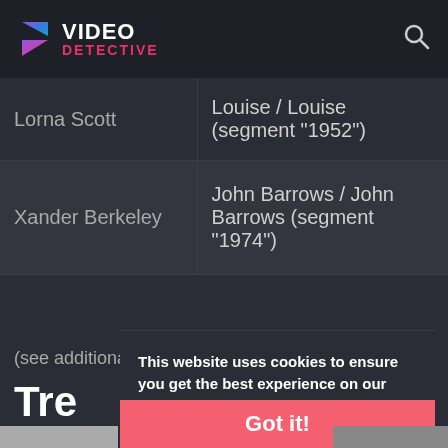VIDEO DETECTIVE
| Actor | Role |
| --- | --- |
| Lorna Scott | Louise / Louise (segment "1952") |
| Xander Berkeley | John Barrows / John Barrows (segment "1974") |
(see additional cast & crew)
Tre
This website uses cookies to ensure you get the best experience on our website.
Learn more
Got it!